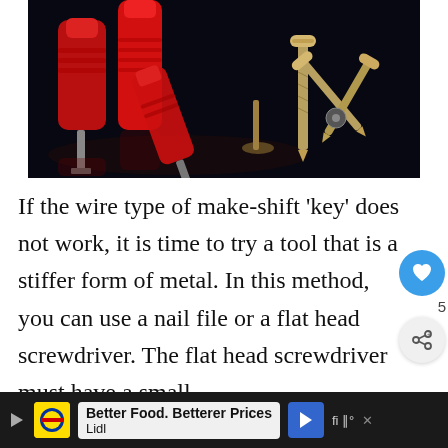[Figure (photo): Photo of red transparent-handled screwdrivers and metal screws arranged on a dark/black reflective surface]
If the wire type of make-shift 'key' does not work, it is time to try a tool that is a stiffer form of metal. In this method, you can use a nail file or a flat head screwdriver. The flat head screwdriver must have a small
[Figure (infographic): Social media sidebar with heart/like button showing count 5 and share button]
Better Food. Betterer Prices Lidl